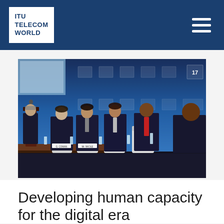ITU TELECOM WORLD
[Figure (photo): Panel discussion at ITU Telecom World 2017. Several panelists in suits are seated on stage in front of a blue branded backdrop. One speaker stands at a podium to the left. Name placards are visible on the table in front of the panelists.]
Developing human capacity for the digital era